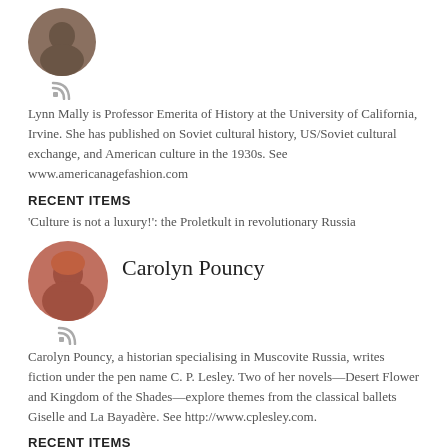[Figure (photo): Circular avatar photo of Lynn Mally with RSS icon below]
Lynn Mally is Professor Emerita of History at the University of California, Irvine. She has published on Soviet cultural history, US/Soviet cultural exchange, and American culture in the 1930s. See www.americanagefashion.com
RECENT ITEMS
'Culture is not a luxury!': the Proletkult in revolutionary Russia
[Figure (photo): Circular avatar photo of Carolyn Pouncy with RSS icon below]
Carolyn Pouncy
Carolyn Pouncy, a historian specialising in Muscovite Russia, writes fiction under the pen name C. P. Lesley. Two of her novels—Desert Flower and Kingdom of the Shades—explore themes from the classical ballets Giselle and La Bayadère. See http://www.cplesley.com.
RECENT ITEMS